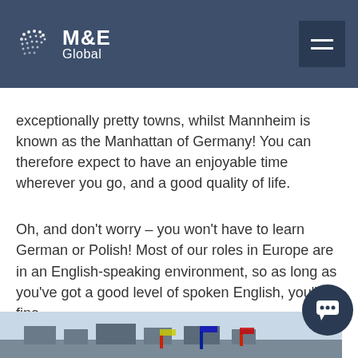M&E Global
exceptionally pretty towns, whilst Mannheim is known as the Manhattan of Germany! You can therefore expect to have an enjoyable time wherever you go, and a good quality of life.
Oh, and don't worry – you won't have to learn German or Polish! Most of our roles in Europe are in an English-speaking environment, so as long as you've got a good level of spoken English, you'll be fine.
[Figure (photo): A partially visible photograph at the bottom of the page showing buildings and flags against a sky, cropped at the bottom edge.]